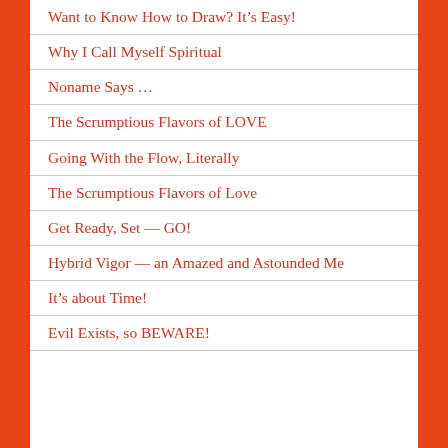Want to Know How to Draw? It’s Easy!
Why I Call Myself Spiritual
Noname Says …
The Scrumptious Flavors of LOVE
Going With the Flow, Literally
The Scrumptious Flavors of Love
Get Ready, Set — GO!
Hybrid Vigor — an Amazed and Astounded Me
It’s about Time!
Evil Exists, so BEWARE!